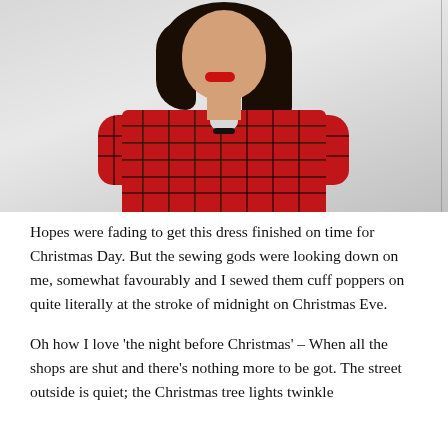[Figure (photo): A woman wearing a red tartan/plaid long-sleeve dress with a keyhole neckline tied with a bow, looking upward. She has long dark curly hair and red lipstick. The background is a light grey/white wall.]
Hopes were fading to get this dress finished on time for Christmas Day. But the sewing gods were looking down on me, somewhat favourably and I sewed them cuff poppers on quite literally at the stroke of midnight on Christmas Eve.
Oh how I love 'the night before Christmas' – When all the shops are shut and there's nothing more to be got. The street outside is quiet; the Christmas tree lights twinkle